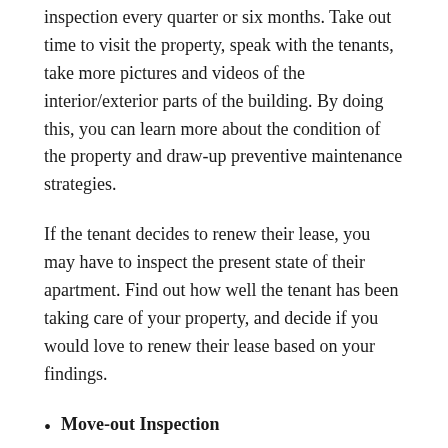inspection every quarter or six months. Take out time to visit the property, speak with the tenants, take more pictures and videos of the interior/exterior parts of the building. By doing this, you can learn more about the condition of the property and draw-up preventive maintenance strategies.
If the tenant decides to renew their lease, you may have to inspect the present state of their apartment. Find out how well the tenant has been taking care of your property, and decide if you would love to renew their lease based on your findings.
Move-out Inspection
Just like the move-in inspection, the move-out walkthrough is also essential. You will need to compare the state of the property when the tenant moved in and the present state